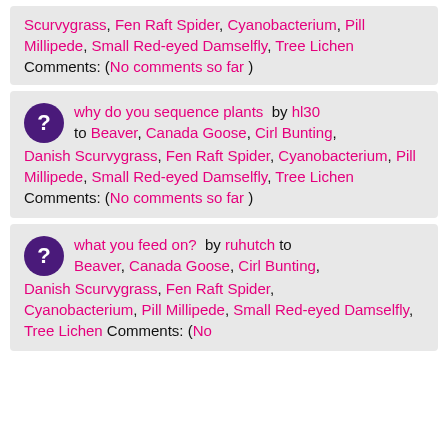Scurvygrass, Fen Raft Spider, Cyanobacterium, Pill Millipede, Small Red-eyed Damselfly, Tree Lichen Comments: (No comments so far )
why do you sequence plants by hl30 to Beaver, Canada Goose, Cirl Bunting, Danish Scurvygrass, Fen Raft Spider, Cyanobacterium, Pill Millipede, Small Red-eyed Damselfly, Tree Lichen Comments: (No comments so far )
what you feed on? by ruhutch to Beaver, Canada Goose, Cirl Bunting, Danish Scurvygrass, Fen Raft Spider, Cyanobacterium, Pill Millipede, Small Red-eyed Damselfly, Tree Lichen Comments: (No